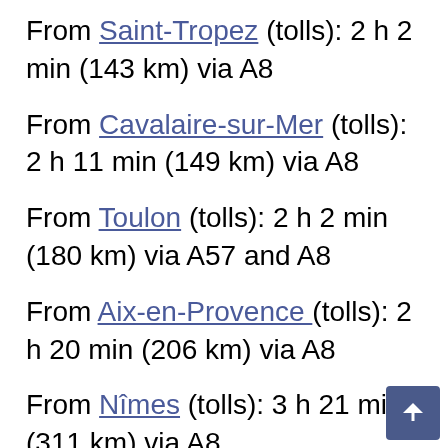From Saint-Tropez (tolls): 2 h 2 min (143 km) via A8
From Cavalaire-sur-Mer (tolls): 2 h 11 min (149 km) via A8
From Toulon (tolls): 2 h 2 min (180 km) via A57 and A8
From Aix-en-Provence (tolls): 2 h 20 min (206 km) via A8
From Nîmes (tolls): 3 h 21 min (311 km) via A8
From Marseille (tolls): 2 h 35 min (229 km) v…